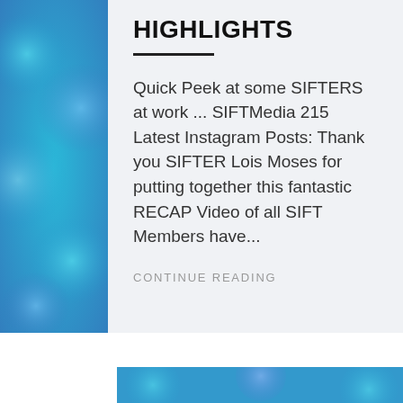[Figure (illustration): Blue bokeh/blurred circles decorative sidebar panel on the left side of the card]
HIGHLIGHTS
Quick Peek at some SIFTERS at work ... SIFTMedia 215 Latest Instagram Posts: Thank you SIFTER Lois Moses for putting together this fantastic RECAP Video of all SIFT Members have...
CONTINUE READING
[Figure (illustration): Blue bokeh/blurred circles decorative banner at the bottom of the page]